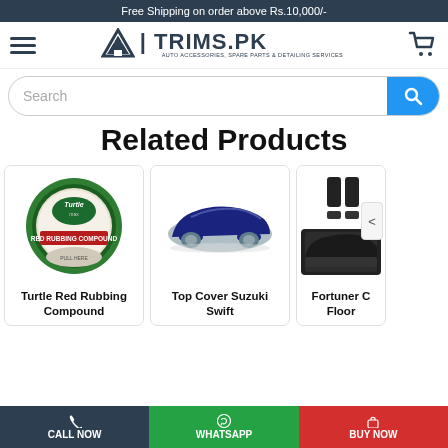Free Shipping on order above Rs.10,000/-
[Figure (logo): TRIMS.PK logo with navigation hamburger menu and cart icon]
[Figure (screenshot): Search bar with blue search button]
Related Products
[Figure (photo): Turtle Red Rubbing Compound product image - green round tin]
Turtle Red Rubbing Compound
[Figure (photo): Top Cover Suzuki Swift - navy blue car cover on sports car]
Top Cover Suzuki Swift
[Figure (photo): Fortuner car floor mats product - partially visible]
Fortuner C Floor
Call Now   WhatsApp   BUY NOW